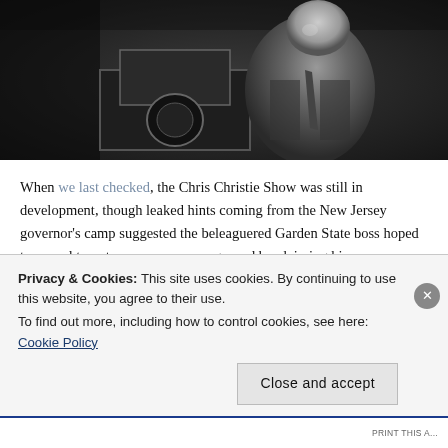[Figure (photo): Black and white photograph of a man in a suit and tie speaking at a podium or event, smiling, with a dark background and a sign/lectern visible]
When we last checked, the Chris Christie Show was still in development, though leaked hints coming from the New Jersey governor's camp suggested the beleaguered Garden State boss hoped to appeal to voters over common ground by claiming his one-percenter financial status is somehow a hardship.
Sometimes it seems a good idea to stick with a bad idea; this happens when...
Privacy & Cookies: This site uses cookies. By continuing to use this website, you agree to their use.
To find out more, including how to control cookies, see here: Cookie Policy
Close and accept